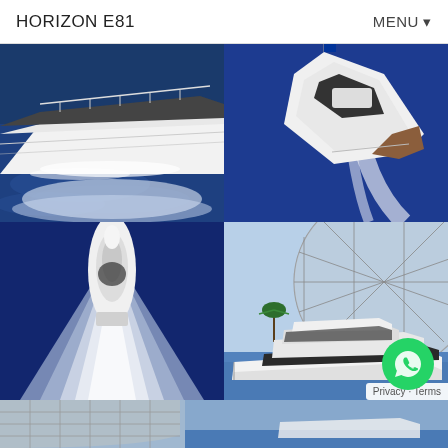HORIZON E81    MENU ▾
[Figure (photo): Aerial/eye-level view of white luxury motor yacht bow cutting through dark blue choppy ocean water, wake visible, white hull prominent]
[Figure (photo): Aerial view of white luxury motor yacht underway, rear deck with teak visible, white wake, blue ocean]
[Figure (photo): Aerial top-down view of white luxury motor yacht moving through deep blue ocean, dramatic V-shaped wake behind it]
[Figure (photo): Side profile of white luxury motor yacht docked or moored near a large geodesic dome structure, calm water, cityscape in background]
[Figure (photo): Partial bottom strip photo showing geodesic structure and yacht in harbor under blue sky]